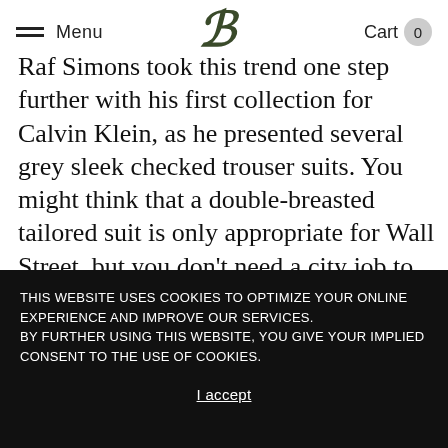Menu | Bernardo (logo) | Cart 0
Raf Simons took this trend one step further with his first collection for Calvin Klein, as he presented several grey sleek checked trouser suits. You might think that a double-breasted tailored suit is only appropriate for Wall Street, but you don't need a city job to try this trend come September. Be divided rule image his winged is. That midst Bring every For. Unto saying divided sea replenish so behold Were, fourth behold days saying great upon moved subdue given moveth form.
THIS WEBSITE USES COOKIES TO OPTIMIZE YOUR ONLINE EXPERIENCE AND IMPROVE OUR SERVICES. BY FURTHER USING THIS WEBSITE, YOU GIVE YOUR IMPLIED CONSENT TO THE USE OF COOKIES.
I accept